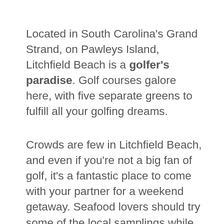Located in South Carolina's Grand Strand, on Pawleys Island, Litchfield Beach is a golfer's paradise. Golf courses galore here, with five separate greens to fulfill all your golfing dreams.
Crowds are few in Litchfield Beach, and even if you're not a big fan of golf, it's a fantastic place to come with your partner for a weekend getaway. Seafood lovers should try some of the local samplings while taking in the picturesque views.
Stroll the broad, gorgeous beaches and take a dip in the warm waters, or rent a kayak or charter a